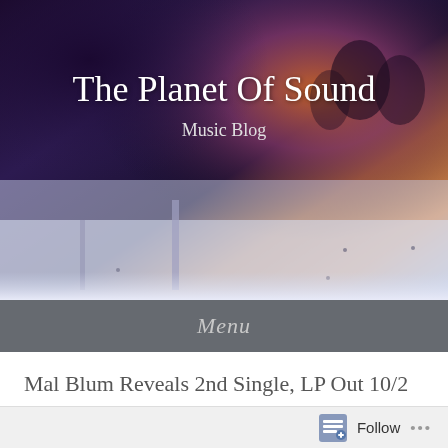[Figure (photo): Abstract/artistic blurred photo of an urban scene serving as blog header background, with purple, dark, and orange-toned colors]
The Planet Of Sound
Music Blog
Menu
Mal Blum Reveals 2nd Single, LP Out 10/2 via Don Giovanni + Nat’l Tour
Posted on September 17, 2015 by The Planet Of Sound
Follow ...